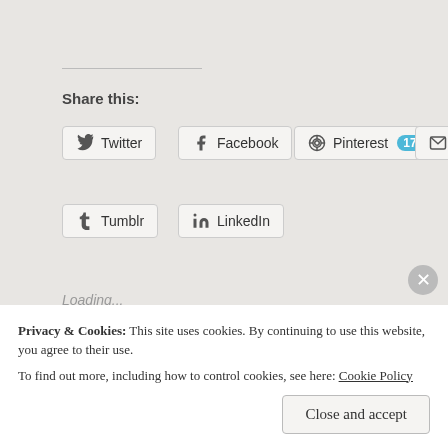Share this:
Twitter
Facebook
Pinterest 17
Email
Tumblr
LinkedIn
Loading...
Bookstagram Tour: Wild Thing +
Privacy & Cookies: This site uses cookies. By continuing to use this website, you agree to their use.
To find out more, including how to control cookies, see here: Cookie Policy
Close and accept